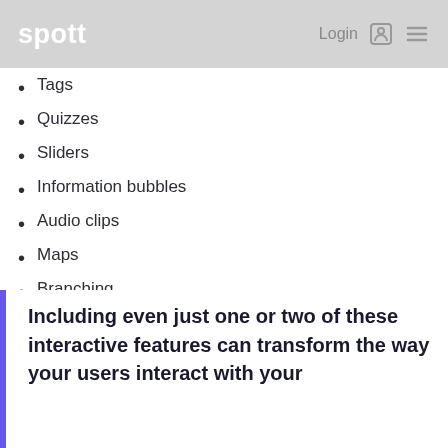spott   Login
Tags
Quizzes
Sliders
Information bubbles
Audio clips
Maps
Branching
Lead generation elements
Cross-media use (putting interactive videos into PDFs and lookBooks)
...
Including even just one or two of these interactive features can transform the way your users interact with your